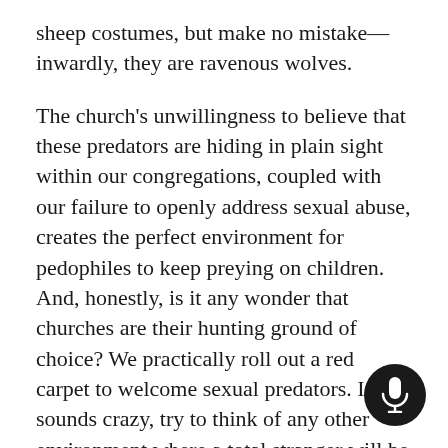sheep costumes, but make no mistake—inwardly, they are ravenous wolves.
The church's unwillingness to believe that these predators are hiding in plain sight within our congregations, coupled with our failure to openly address sexual abuse, creates the perfect environment for pedophiles to keep preying on children. And, honestly, is it any wonder that churches are their hunting ground of choice? We practically roll out a red carpet to welcome sexual predators. If that sounds crazy, try to think of any other environment where a total stranger will be received with open ams, almost immediately trusted (if not begged) to work closely with children and tee and will be guaranteed to never, ever hear a sermon or a sentence spoken against the evil of